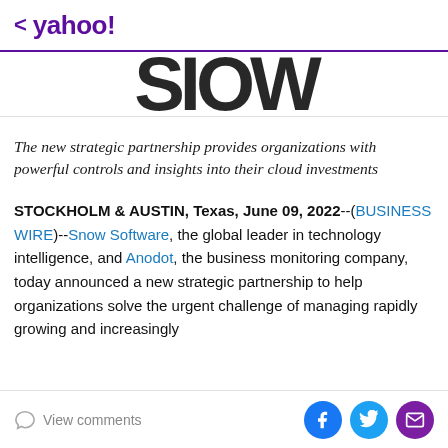< yahoo!
[Figure (logo): Partial Snow Software logo letters visible: 'S I O W' in large black text]
The new strategic partnership provides organizations with powerful controls and insights into their cloud investments
STOCKHOLM & AUSTIN, Texas, June 09, 2022--(BUSINESS WIRE)--Snow Software, the global leader in technology intelligence, and Anodot, the business monitoring company, today announced a new strategic partnership to help organizations solve the urgent challenge of managing rapidly growing and increasingly
View comments